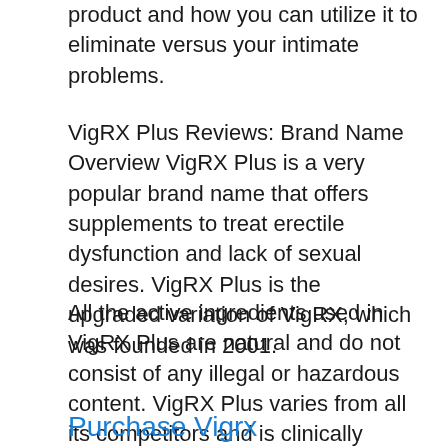product and how you can utilize it to eliminate versus your intimate problems.
VigRX Plus Reviews: Brand Name Overview VigRX Plus is a very popular brand name that offers supplements to treat erectile dysfunction and lack of sexual desires. VigRX Plus is the upgraded variation of VigRX, which was founded in 2001.
All the active ingredients used in VigRX Plus are natural and do not consist of any illegal or hazardous content. VigRX Plus varies from all its competitors and is clinically checked by licensed organizations.
Purchase Vigrx